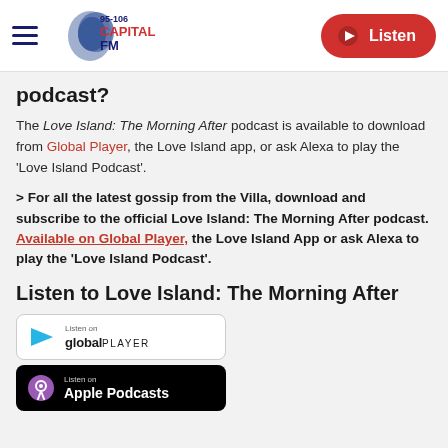Capital FM 95-106 | Listen
podcast?
The Love Island: The Morning After podcast is available to download from Global Player, the Love Island app, or ask Alexa to play the 'Love Island Podcast'.
> For all the latest gossip from the Villa, download and subscribe to the official Love Island: The Morning After podcast. Available on Global Player, the Love Island App or ask Alexa to play the 'Love Island Podcast'.
Listen to Love Island: The Morning After
[Figure (logo): Listen on Global Player badge - white background with Global Player logo and text]
[Figure (logo): Listen on Apple Podcasts badge - black background with Apple Podcasts logo and text]